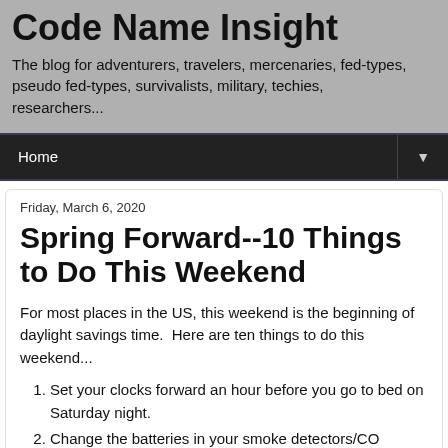Code Name Insight
The blog for adventurers, travelers, mercenaries, fed-types, pseudo fed-types, survivalists, military, techies, researchers...
Home ▼
Friday, March 6, 2020
Spring Forward--10 Things to Do This Weekend
For most places in the US, this weekend is the beginning of daylight savings time.  Here are ten things to do this weekend...
Set your clocks forward an hour before you go to bed on Saturday night.
Change the batteries in your smoke detectors/CO detectors.
Change the air filters in your home's HVAC system.